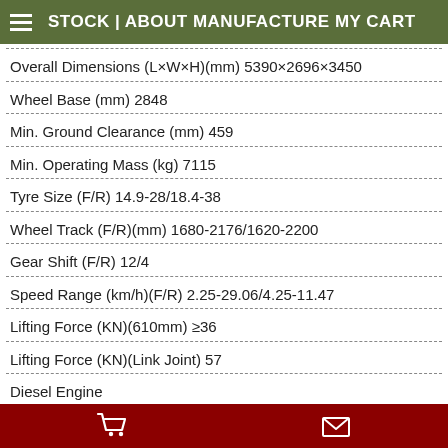STOCK | ABOUT MANUFACTURE MY CART
Overall Dimensions (L×W×H)(mm) 5390×2696×3450
Wheel Base (mm) 2848
Min. Ground Clearance (mm) 459
Min. Operating Mass (kg) 7115
Tyre Size (F/R) 14.9-28/18.4-38
Wheel Track (F/R)(mm) 1680-2176/1620-2200
Gear Shift (F/R) 12/4
Speed Range (km/h)(F/R) 2.25-29.06/4.25-11.47
Lifting Force (KN)(610mm) ≥36
Lifting Force (KN)(Link Joint) 57
Diesel Engine